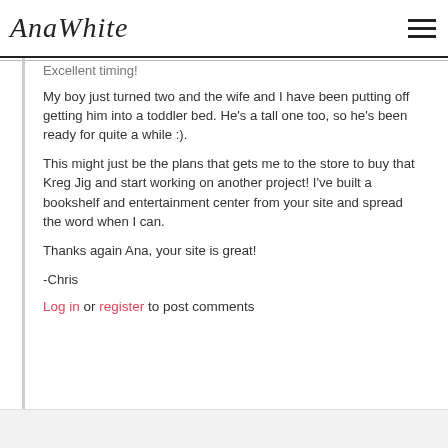AnaWhite
Excellent timing!
My boy just turned two and the wife and I have been putting off getting him into a toddler bed. He's a tall one too, so he's been ready for quite a while :).
This might just be the plans that gets me to the store to buy that Kreg Jig and start working on another project! I've built a bookshelf and entertainment center from your site and spread the word when I can.
Thanks again Ana, your site is great!
-Chris
Log in or register to post comments